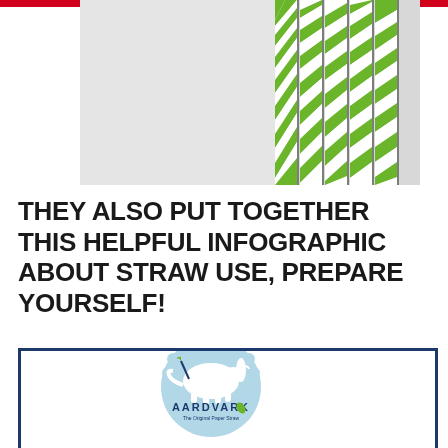[Figure (photo): Photo of green and white striped paper straws bundled together against a light grey/white background]
THEY ALSO PUT TOGETHER THIS HELPFUL INFOGRAPHIC ABOUT STRAW USE, PREPARE YOURSELF!
[Figure (logo): Aardvark straw infographic preview with navy blue border and Aardvark The Original Paper Straw circular badge logo at top center]